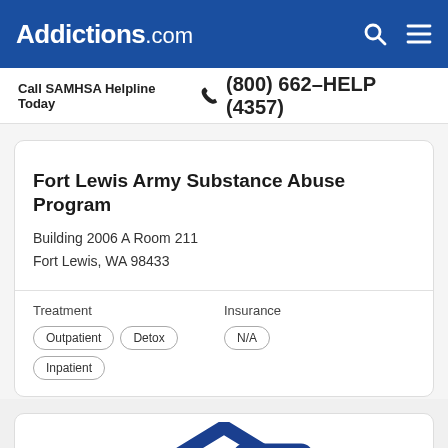Addictions.com
Call SAMHSA Helpline Today  ☎ (800) 662-HELP (4357)
Fort Lewis Army Substance Abuse Program
Building 2006 A Room 211
Fort Lewis, WA 98433
| Treatment | Insurance |
| --- | --- |
| Outpatient  Detox  Inpatient | N/A |
[Figure (illustration): Partial view of a house/building icon in dark blue color at the bottom of the page]